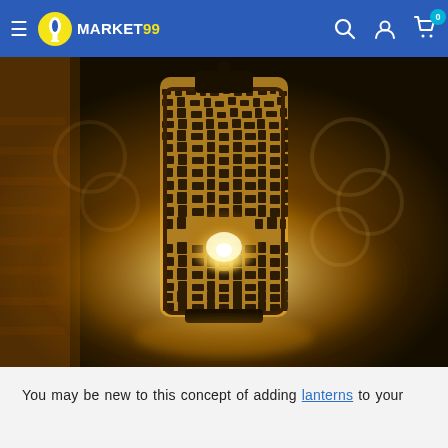Market99 — navigation header with hamburger menu, logo, search, account, and cart icons
[Figure (photo): Close-up photograph of a decorative metal lantern with intricate perforated cutout pattern, glowing with warm candlelight from inside, casting ornate shadow patterns on the wall and surface behind it. Dark, warm-toned ambient background.]
You may be new to this concept of adding lanterns to your